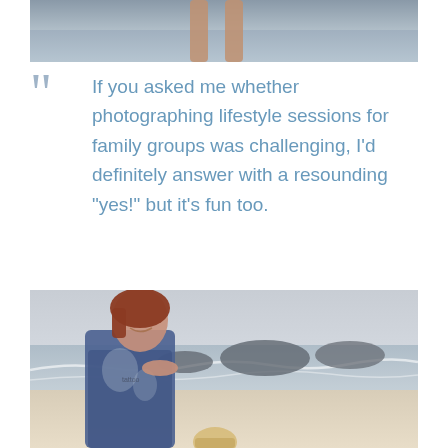[Figure (photo): Top portion of a photo showing legs/feet of a person near water, cropped at the top of the page]
If you asked me whether photographing lifestyle sessions for family groups was challenging, I'd definitely answer with a resounding "yes!" but it's fun too.
[Figure (photo): A smiling woman with red/auburn hair wearing a blue and white tie-dye dress on a beach, with rocks and ocean waves in the background. A blonde child is partially visible at the bottom.]